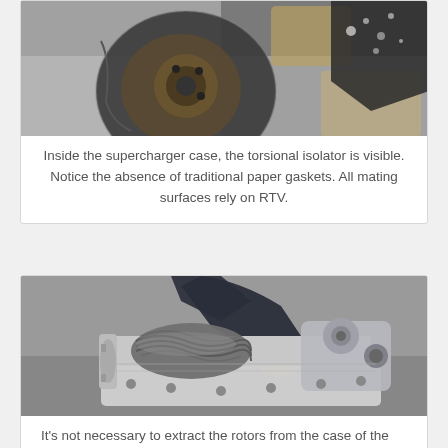[Figure (photo): Inside a supercharger case showing the torsional isolator, metal components with rust and wear visible, no paper gaskets present]
Inside the supercharger case, the torsional isolator is visible. Notice the absence of traditional paper gaskets. All mating surfaces rely on RTV.
[Figure (photo): Person holding an open supercharger assembly showing the helical rotors inside the case, with various mechanical components visible]
It's not necessary to extract the rotors from the case of the supercharger...